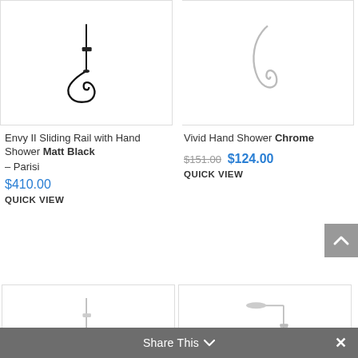[Figure (photo): Black sliding rail with hand shower hose forming a loop, against white background]
Envy II Sliding Rail with Hand Shower Matt Black – Parisi
$410.00
QUICK VIEW
[Figure (photo): Chrome hand shower hose forming a loop, against white background]
Vivid Hand Shower Chrome
$151.00 $124.00
QUICK VIEW
[Figure (photo): Chrome sliding rail with hand shower, bottom portion visible]
[Figure (photo): Chrome overhead rain shower with sliding rail and hand shower]
Share This ∨  ✕